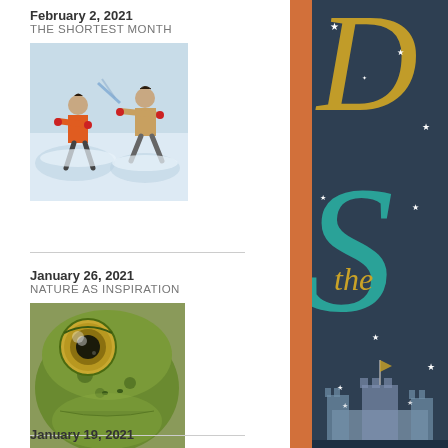February 2, 2021
THE SHORTEST MONTH
[Figure (illustration): Two people making snow angels, one in orange jacket, one in tan coat, arms outstretched against blue/white snowy background]
January 26, 2021
NATURE AS INSPIRATION
[Figure (illustration): Close-up of a green frog face with large golden-brown eye, detailed realistic illustration]
January 19, 2021
[Figure (illustration): Book cover partial view showing dark teal/navy background with gold cursive letter D, teal swirl letter, gold italic 'the', white stars, castle silhouette at bottom, with orange spine on left]